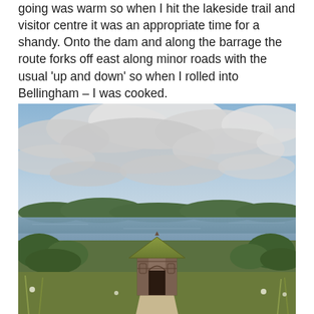going was warm so when I hit the lakeside trail and visitor centre it was an appropriate time for a shandy. Onto the dam and along the barrage the route forks off east along minor roads with the usual 'up and down' so when I rolled into Bellingham – I was cooked.
[Figure (photo): Outdoor landscape photo showing a small ornate wooden shelter or shrine structure with a pointed roof in the foreground, surrounded by wild grass and shrubs. Behind it is a large reservoir or lake with a calm surface, rolling hills with trees in the background, and a broad cloudy sky with blue patches above.]